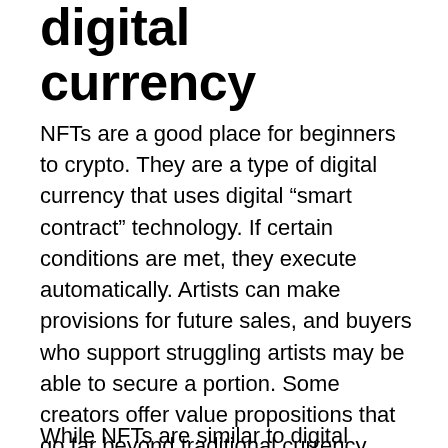digital currency
NFTs are a good place for beginners to crypto. They are a type of digital currency that uses digital “smart contract” technology. If certain conditions are met, they execute automatically. Artists can make provisions for future sales, and buyers who support struggling artists may be able to secure a portion. Some creators offer value propositions that go far beyond traditional currency. This includes free entry to the VeeCon conference, which is open to all NFT holders. Each NFT is different, so it is impossible for anyone to predict the future or identify trends in the digital space.
While NFTs are similar to digital currencies in